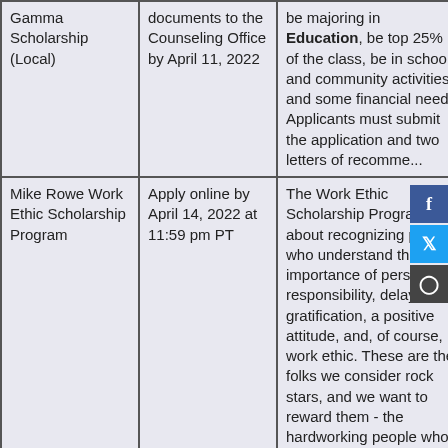| Scholarship | Deadline | Description |
| --- | --- | --- |
| Gamma Scholarship (Local) | documents to the Counseling Office by April 11, 2022 | be majoring in Education, be top 25% of the class, be in school and community activities and some financial need. Applicants must submit the application and two letters of recommendation |
| Mike Rowe Work Ethic Scholarship Program | Apply online by April 14, 2022 at 11:59 pm PT | The Work Ethic Scholarship Program is about recognizing people who understand the importance of personal responsibility, delayed gratification, a positive attitude, and, of course, work ethic. These are the folks we consider rock stars, and we want to reward them - the hardworking people who keep the lights on, water running, and air flowing- next generation of skilled workers who will work smart and hard. To be eligible for this award, you must be enrolled or plan to enroll in one of the approved trade programs: |